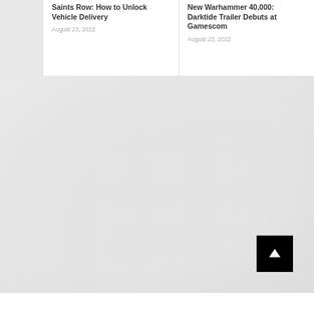Saints Row: How to Unlock Vehicle Delivery
August 23, 2022
New Warhammer 40,000: Darktide Trailer Debuts at Gamescom
August 23, 2022
[Figure (screenshot): Large gray textured background area with faint watermark-style text patterns, containing a black scroll-to-top button with a white upward arrow in the lower right area]